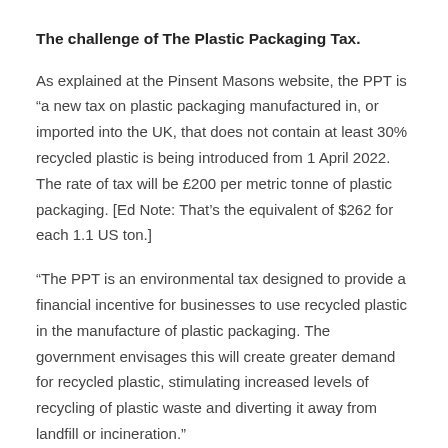The challenge of The Plastic Packaging Tax.
As explained at the Pinsent Masons website, the PPT is “a new tax on plastic packaging manufactured in, or imported into the UK, that does not contain at least 30% recycled plastic is being introduced from 1 April 2022. The rate of tax will be £200 per metric tonne of plastic packaging. [Ed Note: That’s the equivalent of $262 for each 1.1 US ton.]
“The PPT is an environmental tax designed to provide a financial incentive for businesses to use recycled plastic in the manufacture of plastic packaging. The government envisages this will create greater demand for recycled plastic, stimulating increased levels of recycling of plastic waste and diverting it away from landfill or incineration.”